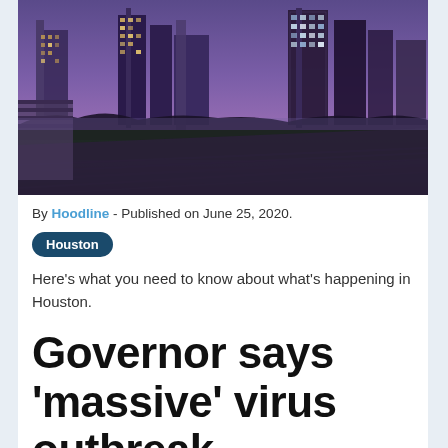[Figure (photo): Aerial/ground-level photo of Houston city skyline at dusk/night with a running track in the foreground and illuminated skyscrapers in the background against a purple sky.]
By Hoodline - Published on June 25, 2020.
Houston
Here's what you need to know about what's happening in Houston.
Governor says 'massive' virus outbreak sweeping Texas